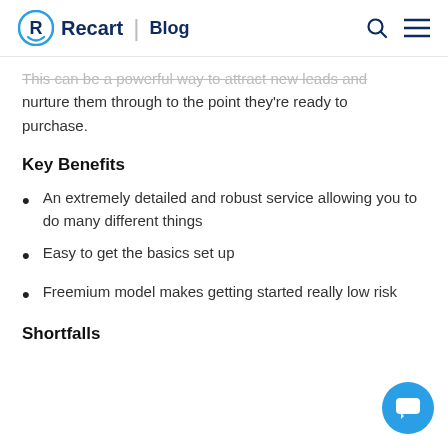Recart | Blog
This can be a powerful way to attract new leads and nurture them through to the point they're ready to purchase.
Key Benefits
An extremely detailed and robust service allowing you to do many different things
Easy to get the basics set up
Freemium model makes getting started really low risk
Shortfalls